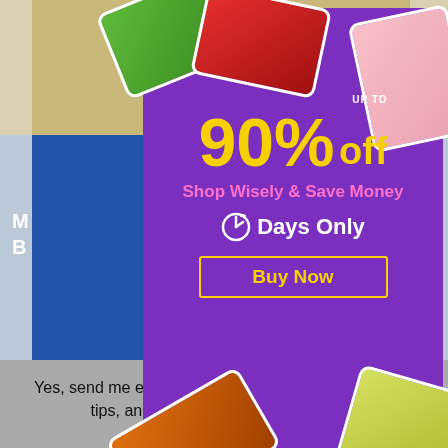[Figure (screenshot): E-commerce popup advertisement showing 'Up to 90% off, Shop Wisely & Save Money, 7 Days Only, Buy Now' on purple background with Korean snack food products. Below the popup is a sign-up banner saying 'If you sign up now, you will receive special benefits. REGISTER IN 30 SECONDS'. Bottom gray area shows text about exclusive offers.]
If you sign up now,
you will receive special benefits.
REGISTER IN 30 SECONDS
Yes, send me exclusive offers, personalized shopping tips, and the latest trends from Korea!